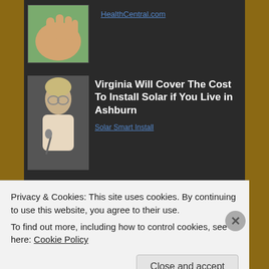[Figure (photo): Hands holding something, greenish background, small thumbnail image]
HealthCentral.com
[Figure (photo): Woman with short blonde hair and glasses speaking at a microphone]
Virginia Will Cover The Cost To Install Solar if You Live in Ashburn
Solar Smart Install
Posted on February 9, 2014 in Relationships, Sound Bites • Tagged Baggage Claim, commitment, Derek Luke, hope, Jill Scott, love, marriage, Paula Patton, relationships, romance, romantic, settling • ! Comment
Privacy & Cookies: This site uses cookies. By continuing to use this website, you agree to their use.
To find out more, including how to control cookies, see here: Cookie Policy